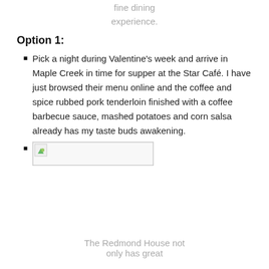fine dining experience.
Option 1:
Pick a night during Valentine's week and arrive in Maple Creek in time for supper at the Star Café. I have just browsed their menu online and the coffee and spice rubbed pork tenderloin finished with a coffee barbecue sauce, mashed potatoes and corn salsa already has my taste buds awakening.
[Figure (photo): Broken/missing image placeholder with a small green leaf icon, shown as a bordered rectangle]
The Redmond House not only has great